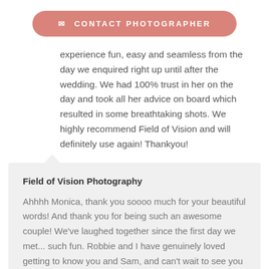✉ CONTACT PHOTOGRAPHER
experience fun, easy and seamless from the day we enquired right up until after the wedding. We had 100% trust in her on the day and took all her advice on board which resulted in some breathtaking shots. We highly recommend Field of Vision and will definitely use again! Thankyou!
Field of Vision Photography
Ahhhh Monica, thank you soooo much for your beautiful words! And thank you for being such an awesome couple! We've laughed together since the first day we met... such fun. Robbie and I have genuinely loved getting to know you and Sam, and can't wait to see you again to capture the next chapter! Big hugs Shireen xxx